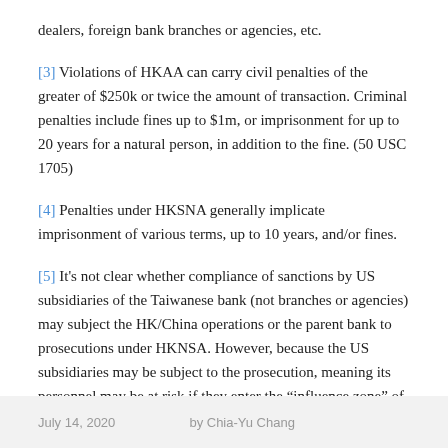dealers, foreign bank branches or agencies, etc.
[3] Violations of HKAA can carry civil penalties of the greater of $250k or twice the amount of transaction. Criminal penalties include fines up to $1m, or imprisonment for up to 20 years for a natural person, in addition to the fine. (50 USC 1705)
[4] Penalties under HKSNA generally implicate imprisonment of various terms, up to 10 years, and/or fines.
[5] It's not clear whether compliance of sanctions by US subsidiaries of the Taiwanese bank (not branches or agencies) may subject the HK/China operations or the parent bank to prosecutions under HKNSA. However, because the US subsidiaries may be subject to the prosecution, meaning its personnel may be at risk if they enter the “influence zone” of HK/China, it will be difficult for the Taiwanese bank to communicate with and maintain control of the US subsidiaries, even if its HK/China operations and headquarter are not implicated.
July 14, 2020     by Chia-Yu Chang